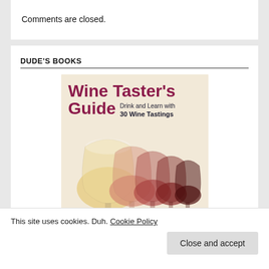Comments are closed.
DUDE'S BOOKS
[Figure (illustration): Book cover for 'Wine Taster's Guide: Drink and Learn with 30 Wine Tastings' showing a row of wine glasses with wines ranging from white to dark red, author Joe Roberts]
This site uses cookies. Duh. Cookie Policy
Close and accept